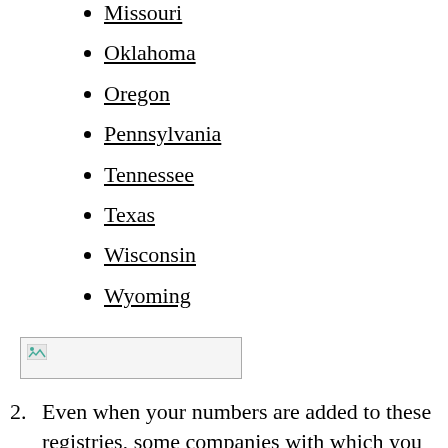Missouri
Oklahoma
Oregon
Pennsylvania
Tennessee
Texas
Wisconsin
Wyoming
[Figure (other): Broken/placeholder image, small rectangle with broken image icon]
2.  Even when your numbers are added to these registries, some companies with which you do business may continue to call. So may local merchants, professional and alumni associations